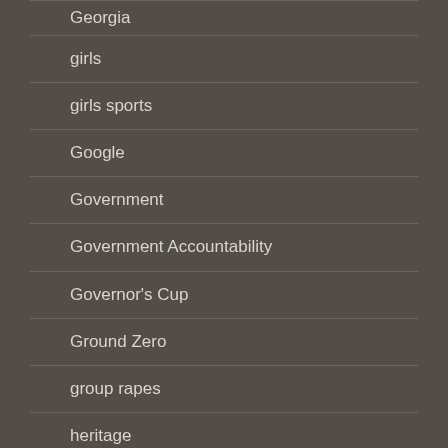Georgia
girls
girls sports
Google
Government
Government Accountability
Governor's Cup
Ground Zero
group rapes
heritage
hillbilly
Houston Rockets
human nature